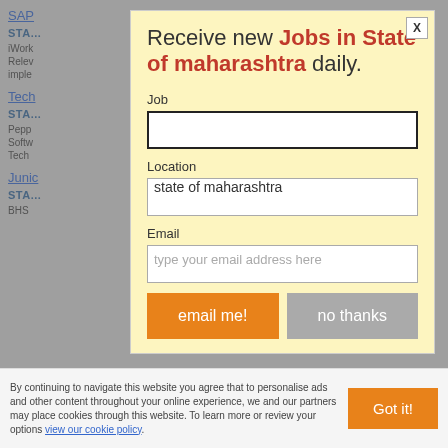SAP...
STATE...
iWork... Rele... imple...
Tech...
STATE...
Pepp... Softw... Tech...
Junior...
STATE...
BHS...
Receive new Jobs in State of maharashtra daily.
Job
Location
state of maharashtra
Email
type your email address here
email me!
no thanks
By continuing to navigate this website you agree that to personalise ads and other content throughout your online experience, we and our partners may place cookies through this website. To learn more or review your options view our cookie policy.
Got it!